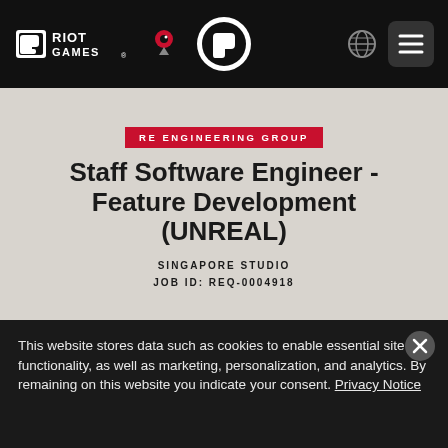Riot Games — navigation bar with logo, globe icon, and menu icon
RE ENGINEERING GROUP
Staff Software Engineer - Feature Development (UNREAL)
SINGAPORE STUDIO
JOB ID: REQ-0004918
This website stores data such as cookies to enable essential site functionality, as well as marketing, personalization, and analytics. By remaining on this website you indicate your consent. Privacy Notice